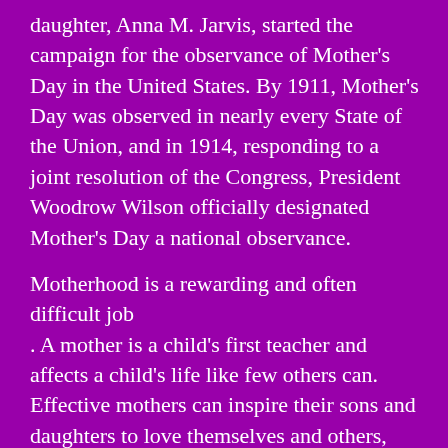daughter, Anna M. Jarvis, started the campaign for the observance of Mother's Day in the United States. By 1911, Mother's Day was observed in nearly every State of the Union, and in 1914, responding to a joint resolution of the Congress, President Woodrow Wilson officially designated Mother's Day a national observance.
Motherhood is a rewarding and often difficult job. A mother is a child's first teacher and affects a child's life like few others can. Effective mothers can inspire their sons and daughters to love themselves and others, work hard, make healthy choices, serve causes greater than self, and achieve their dreams. Mothers who protect, teach, and nurture their children with all their hearts strengthen their families and help build a better future for our country.
This Mother's Day, we express our heartfelt thanks to our mothers for their unconditional love and guidance. We take time to recognize the many mothers who are supporting their